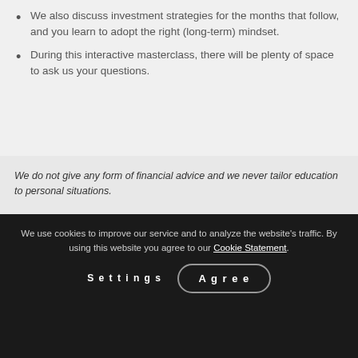We also discuss investment strategies for the months that follow, and you learn to adopt the right (long-term) mindset.
During this interactive masterclass, there will be plenty of space to ask us your questions.
We do not give any form of financial advice and we never tailor education to personal situations.
We use cookies to improve our service and to analyze the website's traffic. By using this website you agree to our Cookie Statement.
Settings   Agree
This masterclass is hosted by Meyade Curfs and Michael Brom. Meyade has more than five years of experience giving masterclasses in various financial